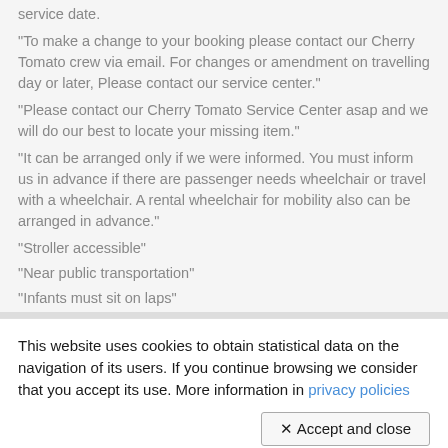service date.
"To make a change to your booking please contact our Cherry Tomato crew via email. For changes or amendment on travelling day or later, Please contact our service center."
"Please contact our Cherry Tomato Service Center asap and we will do our best to locate your missing item."
"It can be arranged only if we were informed. You must inform us in advance if there are passenger needs wheelchair or travel with a wheelchair. A rental wheelchair for mobility also can be arranged in advance."
"Stroller accessible"
"Near public transportation"
"Infants must sit on laps"
This website uses cookies to obtain statistical data on the navigation of its users. If you continue browsing we consider that you accept its use. More information in privacy policies
✕ Accept and close